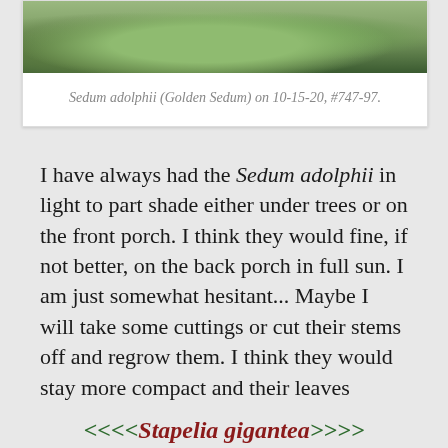[Figure (photo): Photo of Sedum adolphii (Golden Sedum) plant with succulent leaves, partially visible at top of card]
Sedum adolphii (Golden Sedum) on 10-15-20, #747-97.
I have always had the Sedum adolphii in light to part shade either under trees or on the front porch. I think they would fine, if not better, on the back porch in full sun. I am just somewhat hesitant... Maybe I will take some cuttings or cut their stems off and regrow them. I think they would stay more compact and their leaves would be bigger...
<<<<Stapelia gigantea>>>>